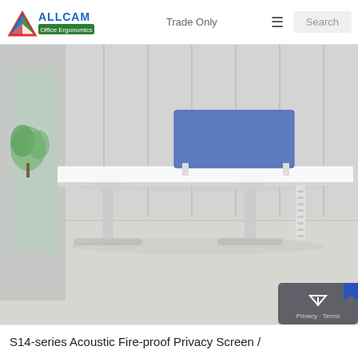ALLCAM Office Ergonomics | Trade Only | Search
[Figure (photo): White height-adjustable sit-stand desk with metal T-legs and a blue acoustic privacy screen divider on top, photographed in a modern minimalist office setting with grey walls and concrete floor.]
S14-series Acoustic Fire-proof Privacy Screen /